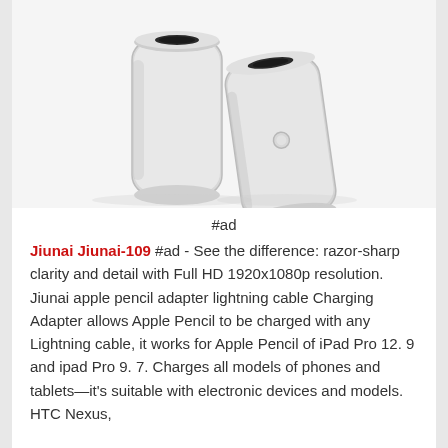[Figure (photo): Two white Lightning adapter dongles (Apple Pencil charging adapters) photographed on a white background, one facing up showing the Lightning port opening, one angled showing its side with a small circular button.]
#ad
Jiunai Jiunai-109 #ad - See the difference: razor-sharp clarity and detail with Full HD 1920x1080p resolution. Jiunai apple pencil adapter lightning cable Charging Adapter allows Apple Pencil to be charged with any Lightning cable, it works for Apple Pencil of iPad Pro 12. 9 and ipad Pro 9. 7. Charges all models of phones and tablets—it's suitable with electronic devices and models. HTC Nexus,